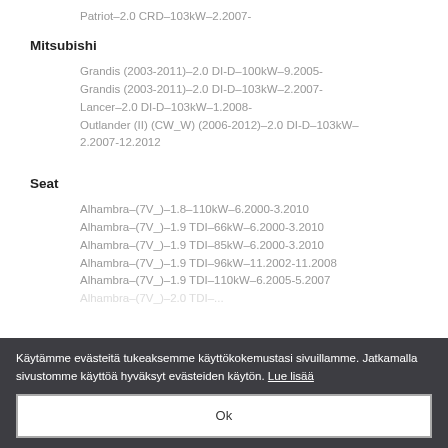Patriot–2.0 CRD–103kW–2.2007-
Mitsubishi
Grandis (2003-2011)–2.0 DI-D–100kW–9.2005-
Grandis (2003-2011)–2.0 DI-D–103kW–2.2007-
Lancer–2.0 DI-D–103kW–1.2008-
Outlander (II) (CW_W) (2006-2012)–2.0 DI-D–103kW–2.2007-12.2012
Seat
Alhambra–(7V_)–1.8–110kW–6.2000-3.2010
Alhambra–(7V_)–1.9 TDI–66kW–6.2000-3.2010
Alhambra–(7V_)–1.9 TDI–85kW–6.2000-3.2010
Alhambra–(7V_)–1.9 TDI–96kW–11.2002-11.2008
Alhambra–(7V_)–1.9 TDI–110kW–6.2005-5.2007
Käytämme evästeitä tukeaksemme käyttökokemustasi sivuillamme. Jatkamalla sivustomme käyttöä hyväksyt evästeiden käytön. Lue lisää
Ok